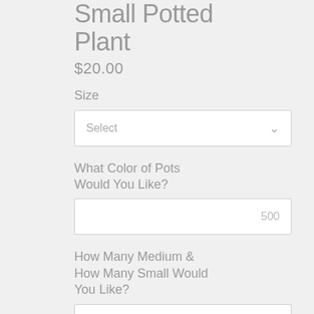Small Potted Plant
$20.00
Size
Select
What Color of Pots Would You Like?
500
How Many Medium & How Many Small Would You Like?
500